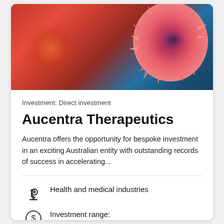[Figure (photo): Microscopic image of a cancer cell or virus in pink/red color against a dark blue background with orange glow on the left side]
Investment: Direct investment
Aucentra Therapeutics
Aucentra offers the opportunity for bespoke investment in an exciting Australian entity with outstanding records of success in accelerating...
Health and medical industries
Investment range: A$5M – A$20M